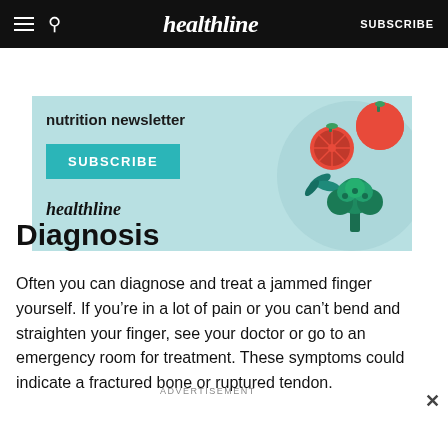healthline  SUBSCRIBE
[Figure (illustration): Healthline nutrition newsletter advertisement banner with teal/light blue background, subscribe button, healthline logo, and illustrated vegetables (tomatoes, broccoli, herbs)]
Diagnosis
Often you can diagnose and treat a jammed finger yourself. If you’re in a lot of pain or you can’t bend and straighten your finger, see your doctor or go to an emergency room for treatment. These symptoms could indicate a fractured bone or ruptured tendon.
ADVERTISEMENT
[Figure (illustration): Bottom advertisement banner with teal background, illustrated woman figure on orange/red background on the left, text 'Get our wellness newsletter.' in the center, and a teal SUBSCRIBE button on the right]